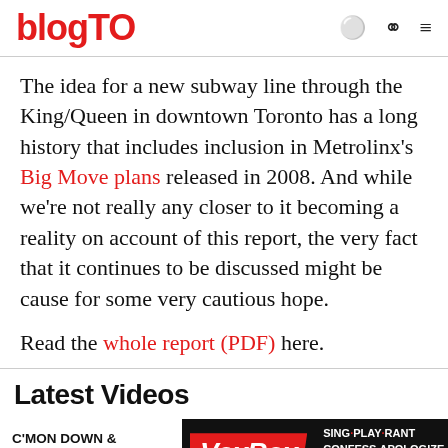blogTO
The idea for a new subway line through the King/Queen in downtown Toronto has a long history that includes inclusion in Metrolinx's Big Move plans released in 2008. And while we're not really any closer to it becoming a reality on account of this report, the very fact that it continues to be discussed might be cause for some very cautious hope.
Read the whole report (PDF) here.
Latest Videos
[Figure (other): Advertisement banner for VoxBox at 70 Jefferson Avenue in Liberty Village. Text reads: C'MON DOWN & SPEAK YOUR MIND, VoxBox, SING·PLAY·RANT CONFESS·APOLOGIZE SELL...or just tell us a good joke!]